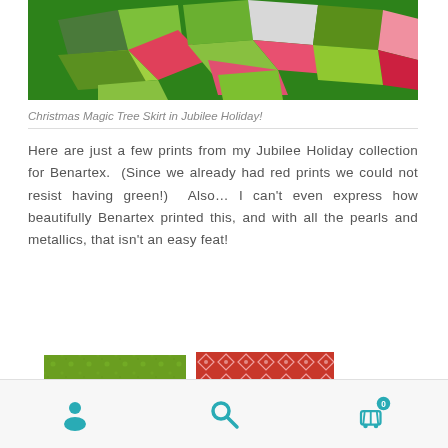[Figure (photo): Christmas quilt tree skirt in red, pink, green, and white fabric pieces arranged in a star pattern, photographed on green grass]
Christmas Magic Tree Skirt in Jubilee Holiday!
Here are just a few prints from my Jubilee Holiday collection for Benartex.  (Since we already had red prints we could not resist having green!)  Also… I can't even express how beautifully Benartex printed this, and with all the pearls and metallics, that isn't an easy feat!
[Figure (photo): Green fabric swatch with subtle dot/star pattern]
[Figure (photo): Red fabric swatch with white diamond/geometric pattern, with dark green fabric strip below]
Navigation bar with user icon, search icon, and cart icon (0 items)